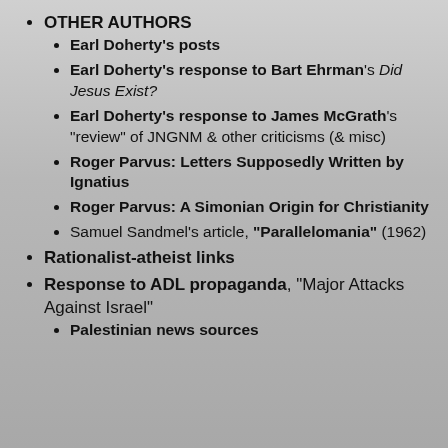OTHER AUTHORS
Earl Doherty's posts
Earl Doherty's response to Bart Ehrman's Did Jesus Exist?
Earl Doherty's response to James McGrath's "review" of JNGNM & other criticisms (& misc)
Roger Parvus: Letters Supposedly Written by Ignatius
Roger Parvus: A Simonian Origin for Christianity
Samuel Sandmel's article, "Parallelomania" (1962)
Rationalist-atheist links
Response to ADL propaganda, "Major Attacks Against Israel"
Palestinian news sources